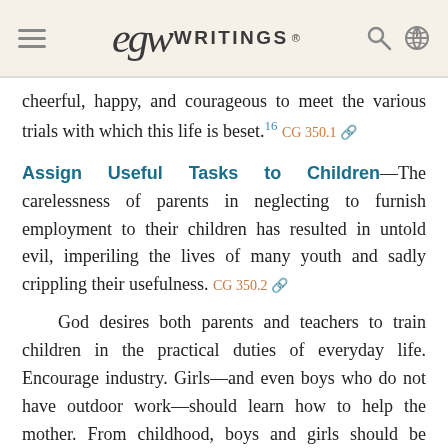EGW WRITINGS®
cheerful, happy, and courageous to meet the various trials with which this life is beset.16 CG 350.1
Assign Useful Tasks to Children—The carelessness of parents in neglecting to furnish employment to their children has resulted in untold evil, imperiling the lives of many youth and sadly crippling their usefulness. CG 350.2
God desires both parents and teachers to train children in the practical duties of everyday life. Encourage industry. Girls—and even boys who do not have outdoor work—should learn how to help the mother. From childhood, boys and girls should be taught to bear heavier and still heavier burdens, intelligently helping in the work of the family firm.